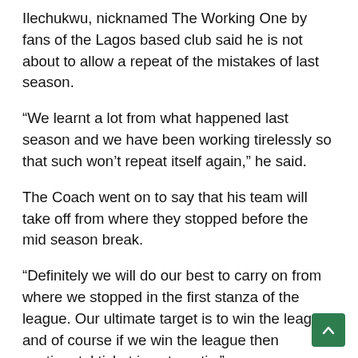Ilechukwu, nicknamed The Working One by fans of the Lagos based club said he is not about to allow a repeat of the mistakes of last season.
“We learnt a lot from what happened last season and we have been working tirelessly so that such won’t repeat itself again,” he said.
The Coach went on to say that his team will take off from where they stopped before the mid season break.
“Definitely we will do our best to carry on from where we stopped in the first stanza of the league. Our ultimate target is to win the league and of course if we win the league then continental ticket is automatic.”
Ilechukwu also confirmed that he has made four new